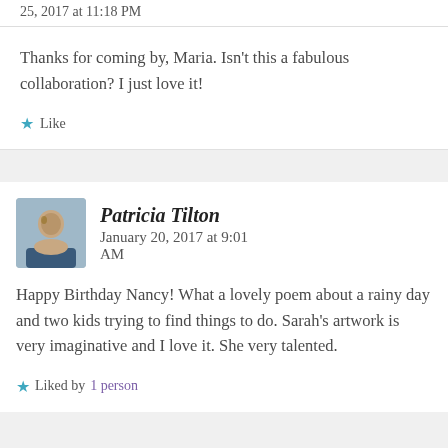25, 2017 at 11:18 PM
Thanks for coming by, Maria. Isn't this a fabulous collaboration? I just love it!
★ Like
Patricia Tilton   January 20, 2017 at 9:01 AM
Happy Birthday Nancy! What a lovely poem about a rainy day and two kids trying to find things to do. Sarah's artwork is very imaginative and I love it. She very talented.
★ Liked by 1 person